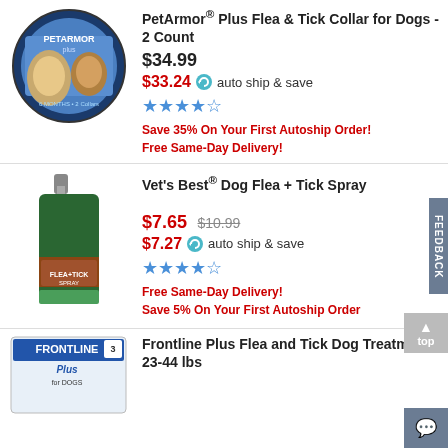[Figure (photo): PetArmor Plus flea and tick collar product image in circular container with two dogs]
PetArmor® Plus Flea & Tick Collar for Dogs - 2 Count
$34.99
$33.24 auto ship & save
★★★★☆
Save 35% On Your First Autoship Order!
Free Same-Day Delivery!
[Figure (photo): Vet's Best Dog Flea + Tick Spray bottle]
Vet's Best® Dog Flea + Tick Spray
$7.65 $10.99
$7.27 auto ship & save
★★★★☆
Free Same-Day Delivery!
Save 5% On Your First Autoship Order
[Figure (photo): Frontline Plus flea and tick dog treatment box for 23-44 lbs]
Frontline Plus Flea and Tick Dog Treatment 23-44 lbs